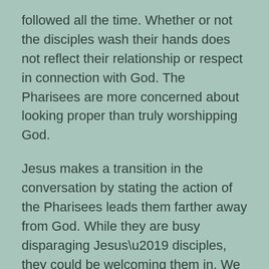followed all the time. Whether or not the disciples wash their hands does not reflect their relationship or respect in connection with God. The Pharisees are more concerned about looking proper than truly worshipping God.
Jesus makes a transition in the conversation by stating the action of the Pharisees leads them farther away from God. While they are busy disparaging Jesus’ disciples, they could be welcoming them in. We witness this throughout Jesus’ ministry as he invites everyone to the table regardless of their status. The Pharisees remarks reflect what is truly in